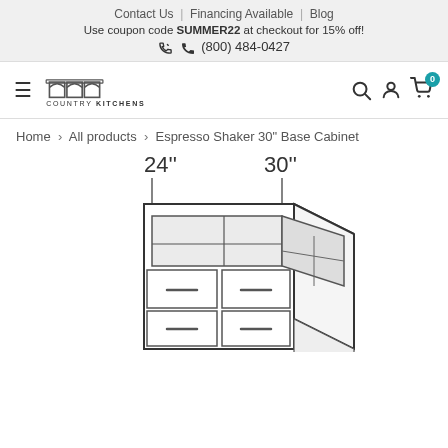Contact Us | Financing Available | Blog
Use coupon code SUMMER22 at checkout for 15% off!
(800) 484-0427
[Figure (logo): Country Kitchens logo with stylized cabinet/arch icon and text COUNTRY KITCHENS]
Home > All products > Espresso Shaker 30" Base Cabinet
[Figure (engineering-diagram): Technical line drawing of a kitchen base cabinet (Espresso Shaker 30" Base Cabinet) shown in isometric view with dimension annotations: 24" depth and 30" width. Cabinet shows doors, drawer fronts, drawer box, and handles.]